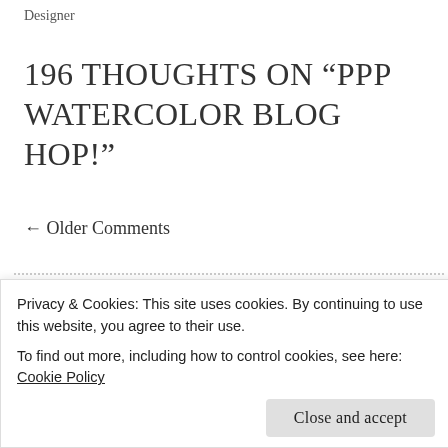Designer
196 THOUGHTS ON “PPP WATERCOLOR BLOG HOP!”
← Older Comments
Neha Bhatt
on June 7, 2015 at 5:06 pm
Stunning cards. Love all of them but first one is my favourite.
Privacy & Cookies: This site uses cookies. By continuing to use this website, you agree to their use.
To find out more, including how to control cookies, see here: Cookie Policy
Close and accept